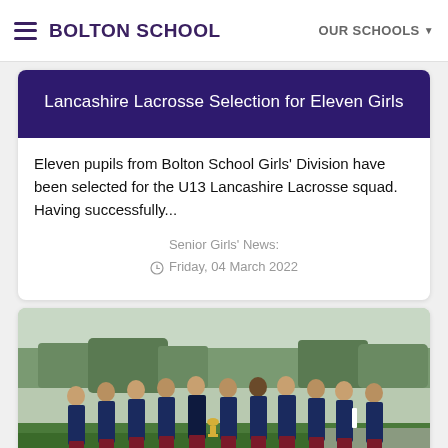BOLTON SCHOOL — OUR SCHOOLS
Lancashire Lacrosse Selection for Eleven Girls
Eleven pupils from Bolton School Girls' Division have been selected for the U13 Lancashire Lacrosse squad. Having successfully...
Senior Girls' News:
Friday, 04 March 2022
[Figure (photo): Group photo of approximately eleven girls in Bolton School navy tracksuits and maroon skirts, standing outdoors on a grass field, one girl holding a trophy cup in the center.]